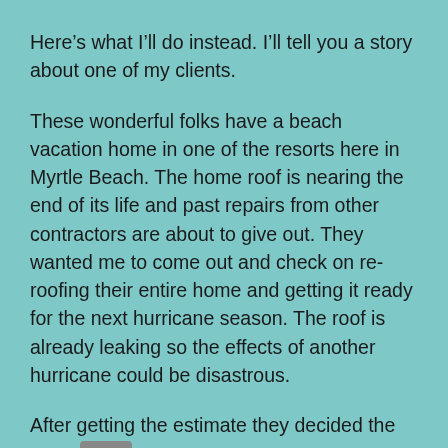Here’s what I’ll do instead. I’ll tell you a story about one of my clients.
These wonderful folks have a beach vacation home in one of the resorts here in Myrtle Beach. The home roof is nearing the end of its life and past repairs from other contractors are about to give out. They wanted me to come out and check on re-roofing their entire home and getting it ready for the next hurricane season. The roof is already leaking so the effects of another hurricane could be disastrous.
After getting the estimate they decided the price was in their budget and worth doing for the value and longevity of their home. They’re in a key spot right on the main road, near the store, and also with a great people-watching view.